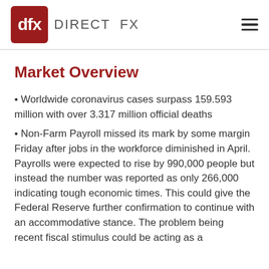dfx DIRECT FX
Market Overview
Worldwide coronavirus cases surpass 159.593 million with over 3.317 million official deaths
Non-Farm Payroll missed its mark by some margin Friday after jobs in the workforce diminished in April. Payrolls were expected to rise by 990,000 people but instead the number was reported as only 266,000 indicating tough economic times. This could give the Federal Reserve further confirmation to continue with an accommodative stance. The problem being recent fiscal stimulus could be acting as a